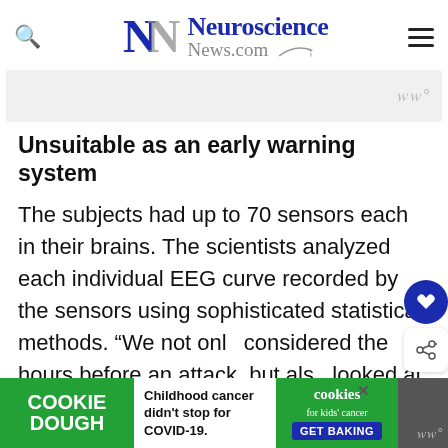Neuroscience News.com
Unsuitable as an early warning system
The subjects had up to 70 sensors each in their brains. The scientists analyzed each individual EEG curve recorded by the sensors using sophisticated statistical methods. “We not only considered the hours before an attack, but also looked at a period of up to two weeks,” Wilka
[Figure (screenshot): Cookie Dough charity advertisement banner at bottom of page]